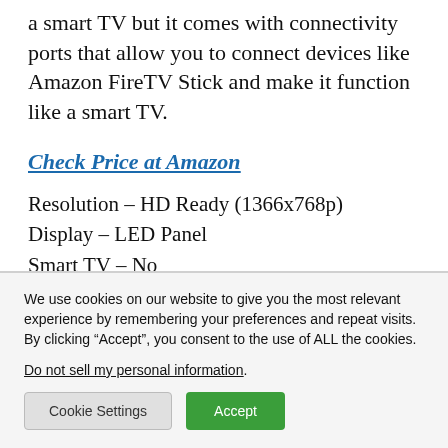a smart TV but it comes with connectivity ports that allow you to connect devices like Amazon FireTV Stick and make it function like a smart TV.
Check Price at Amazon
Resolution – HD Ready (1366x768p)
Display – LED Panel
Smart TV – No
We use cookies on our website to give you the most relevant experience by remembering your preferences and repeat visits. By clicking “Accept”, you consent to the use of ALL the cookies.
Do not sell my personal information.